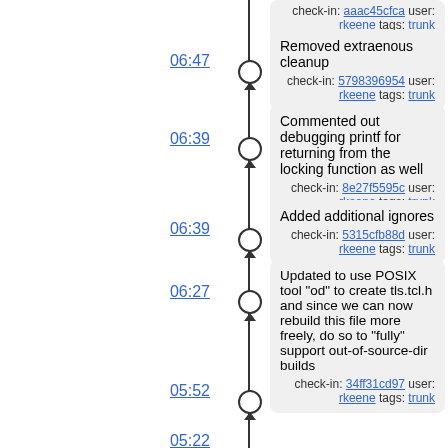check-in: aaac45cfca user: rkeene tags: trunk
06:47
Removed extraenous cleanup
check-in: 5798396954 user: rkeene tags: trunk
06:39
Commented out debugging printf for returning from the locking function as well
check-in: 8e27f5595c user: rkeene tags: trunk
06:39
Added additional ignores
check-in: 5315cfb88d user: rkeene tags: trunk
06:27
Updated to use POSIX tool "od" to create tls.tcl.h and since we can now rebuild this file more freely, do so to "fully" support out-of-source-dir builds
check-in: 34ff31cd97 user: rkeene tags: trunk
05:52
Fixed typo in configure help
check-in: 2ceafae87f user: rkeene tags: trunk
05:22
• Changes to wiki page Download
artifact: a79b4d6328 user: rkeene